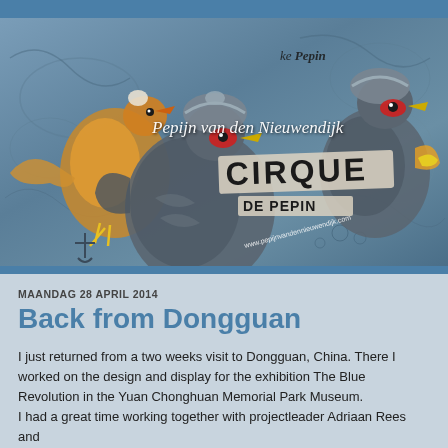[Figure (illustration): Banner image for Pepijn van den Nieuwendijk artist website showing 'Cirque de Pepin' exhibition with ornate bird illustrations (fantastical creatures with turbans and red accents) on a blue-grey decorative background. Text overlay includes artist name 'Pepijn van den Nieuwendijk', 'Paintings & Ceramic Sculptures', 'CIRQUE DE PEPIN', and website URL.]
MAANDAG 28 APRIL 2014
Back from Dongguan
I just returned from a two weeks visit to Dongguan, China. There I worked on the design and display for the exhibition The Blue Revolution in the Yuan Chonghuan Memorial Park Museum.
I had a great time working together with projectleader Adriaan Rees and